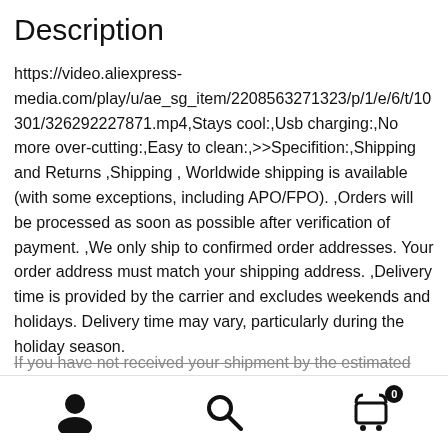Description
https://video.aliexpress-media.com/play/u/ae_sg_item/2208563271323/p/1/e/6/t/10301/326292227871.mp4,Stays cool:,Usb charging:,No more over-cutting:,Easy to clean:,>>Specifition:,Shipping and Returns ,Shipping , Worldwide shipping is available (with some exceptions, including APO/FPO). ,Orders will be processed as soon as possible after verification of payment. ,We only ship to confirmed order addresses. Your order address must match your shipping address. ,Delivery time is provided by the carrier and excludes weekends and holidays. Delivery time may vary, particularly during the holiday season.
If you have not received your shipment by the estimated
[Figure (other): Bottom navigation bar with user account icon, search icon, and shopping cart icon with badge showing 0]